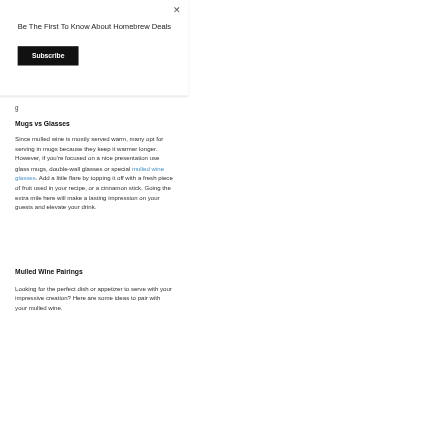Be The First To Know About Homebrew Deals
Subscribe
g
Mugs vs Glasses
Since mulled wine is mostly served warm, many opt for serving in mugs because they keep it warmer longer. However, if you're focused on a nice presentation use glass mugs, double-wall glasses or special mulled wine glasses. Add a little flare by topping it off with a fresh piece of fruit used in your recipe, or a cinnamon stick. Going the extra mile here will make a lasting impression on your guests and elevate your drink.
Mulled Wine Pairings
Looking for the perfect dish or appetizer to serve with your impressive creation? Here are some ideas to pair with your mulled wine.